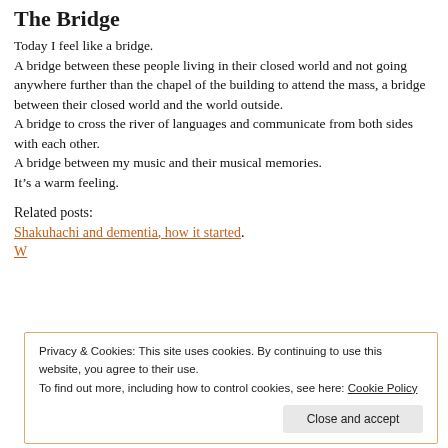The Bridge
Today I feel like a bridge.
A bridge between these people living in their closed world and not going anywhere further than the chapel of the building to attend the mass, a bridge between their closed world and the world outside.
A bridge to cross the river of languages and communicate from both sides with each other.
A bridge between my music and their musical memories.
It’s a warm feeling.
Related posts:
Shakuhachi and dementia, how it started.
W
Privacy & Cookies: This site uses cookies. By continuing to use this website, you agree to their use.
To find out more, including how to control cookies, see here: Cookie Policy
Close and accept